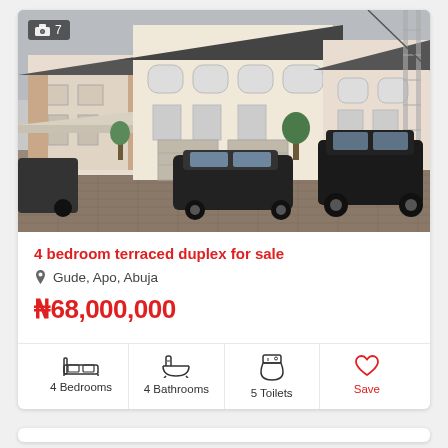[Figure (photo): Exterior photo of a 4 bedroom terraced duplex in Gude, Apo, Abuja. Shows a large cream/white multi-unit duplex building with dark roof tiles, cars parked in the driveway/courtyard, and a camera icon badge showing '7' photos.]
4 bedroom terraced duplex for sale
Gude, Apo, Abuja
₦68,000,000
4 Bedrooms
4 Bathrooms
5 Toilets
Save